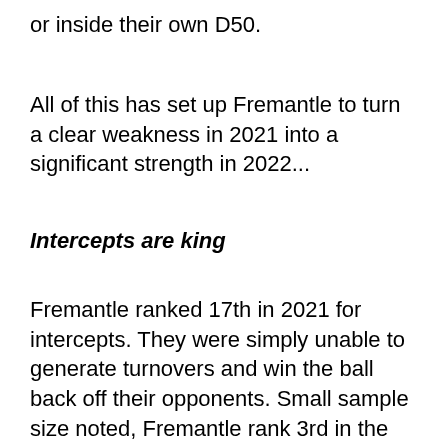or inside their own D50.
All of this has set up Fremantle to turn a clear weakness in 2021 into a significant strength in 2022...
Intercepts are king
Fremantle ranked 17th in 2021 for intercepts. They were simply unable to generate turnovers and win the ball back off their opponents. Small sample size noted, Fremantle rank 3rd in the